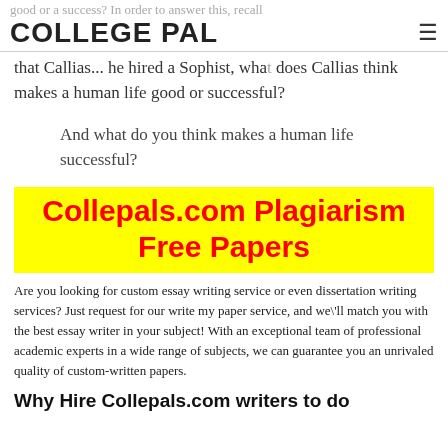COLLEGE PAL
good or a success? In order to answer this, recall that Callias... he hired a Sophist, what does Callias think makes a human life good or successful?
And what do you think makes a human life successful?
Collepals.com Plagiarism Free Papers
Are you looking for custom essay writing service or even dissertation writing services? Just request for our write my paper service, and we'll match you with the best essay writer in your subject! With an exceptional team of professional academic experts in a wide range of subjects, we can guarantee you an unrivaled quality of custom-written papers.
Why Hire Collepals.com writers to do